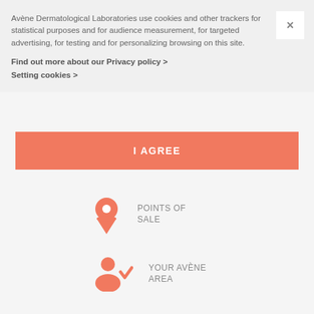Avène Dermatological Laboratories use cookies and other trackers for statistical purposes and for audience measurement, for targeted advertising, for testing and for personalizing browsing on this site.
Find out more about our Privacy policy >
Setting cookies >
I AGREE
[Figure (infographic): Location pin icon with text POINTS OF SALE]
[Figure (infographic): Person with checkmark icon with text YOUR AVÈNE AREA]
[Figure (infographic): Envelope icon with text CONTACT US]